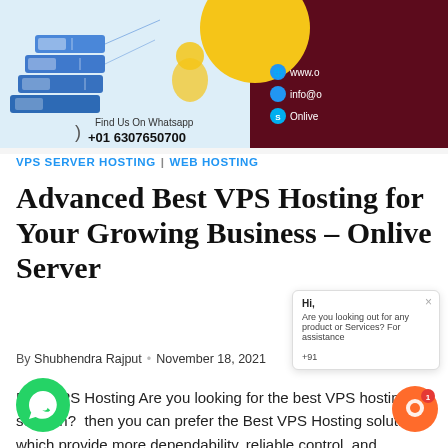[Figure (photo): Banner image for VPS hosting article showing stacked blue server/storage boxes illustration on left, yellow circle, dark maroon background on right with contact info (www., info@, Onlive), and WhatsApp contact info at bottom (+91 6307650700)]
VPS SERVER HOSTING | WEB HOSTING
Advanced Best VPS Hosting for Your Growing Business – Onlive Server
By Shubhendra Rajput • November 18, 2021
Best VPS Hosting Are you looking for the best VPS hosting solution?  then you can prefer the Best VPS Hosting solutions which provide more dependability, reliable control, and